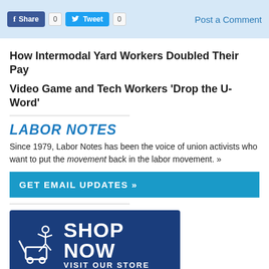Share  0  Tweet  0  Post a Comment
How Intermodal Yard Workers Doubled Their Pay
Video Game and Tech Workers ‘Drop the U-Word’
LABOR NOTES
Since 1979, Labor Notes has been the voice of union activists who want to put the movement back in the labor movement. »
GET EMAIL UPDATES »
[Figure (illustration): Shop Now - Visit Our Store banner with shopping cart icon on dark blue background]